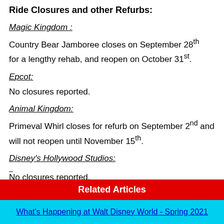Ride Closures and other Refurbs:
Magic Kingdom :
Country Bear Jamboree closes on September 28th for a lengthy rehab, and reopen on October 31st.
Epcot:
No closures reported.
Animal Kingdom:
Primeval Whirl closes for refurb on September 2nd and will not reopen until November 15th.
Disney's Hollywood Studios:
No closures reported.
Related Articles
What's Happening at Walt Disney World - Spring 2021